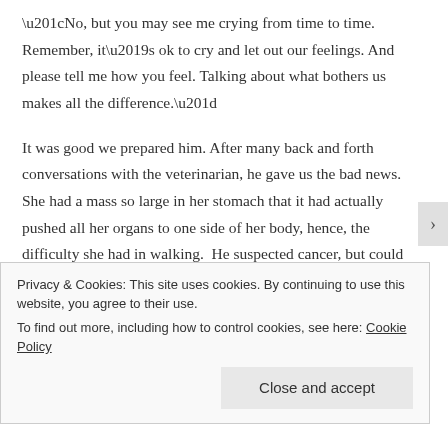“No, but you may see me crying from time to time. Remember, it’s ok to cry and let out our feelings. And please tell me how you feel. Talking about what bothers us makes all the difference.”

It was good we prepared him. After many back and forth conversations with the veterinarian, he gave us the bad news. She had a mass so large in her stomach that it had actually pushed all her organs to one side of her body, hence, the difficulty she had in walking.  He suspected cancer, but could not do an x-ray. She almost died when he tried. Like all cats, she hid her pain well until she could no longer hide it. Then she showed us what she needed. It was
Privacy & Cookies: This site uses cookies. By continuing to use this website, you agree to their use.
To find out more, including how to control cookies, see here: Cookie Policy
Close and accept